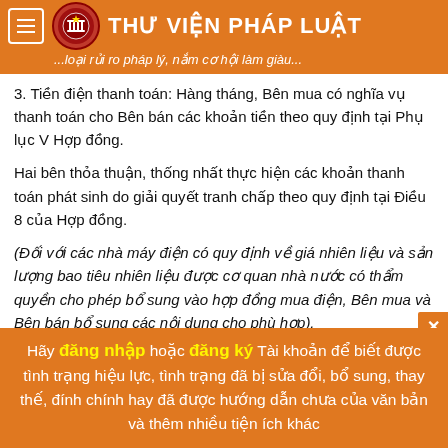THƯ VIỆN PHÁP LUẬT ...loại rủi ro pháp lý, nắm cơ hội làm giàu...
3. Tiền điện thanh toán: Hàng tháng, Bên mua có nghĩa vụ thanh toán cho Bên bán các khoản tiền theo quy định tại Phụ lục V Hợp đồng.
Hai bên thỏa thuận, thống nhất thực hiện các khoản thanh toán phát sinh do giải quyết tranh chấp theo quy định tại Điều 8 của Hợp đồng.
(Đối với các nhà máy điện có quy định về giá nhiên liệu và sản lượng bao tiêu nhiên liệu được cơ quan nhà nước có thẩm quyền cho phép bổ sung vào hợp đồng mua điện, Bên mua và Bên bán bổ sung các nội dung cho phù hợp).
Điều 4. Cam kết thực hiện
Hai bên cam kết như sau:
1. Mỗi bên được thành lập hợp pháp để hoạt động theo pháp luật
Hãy đăng nhập hoặc đăng ký Tài khoản để biết được tình trạng hiệu lực, tình trạng đã bị sửa đổi, bổ sung, thay thế, đính chính hay đã được hướng dẫn chưa của văn bản và thêm nhiều tiện ích khác